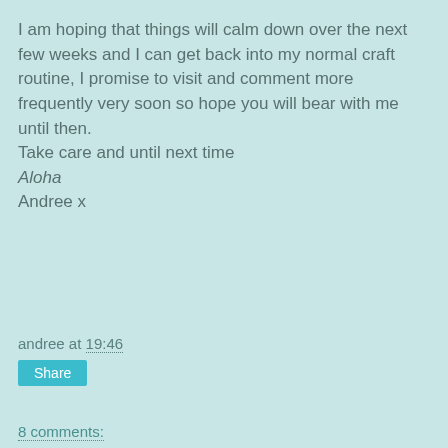I am hoping that things will calm down over the next few weeks and I can get back into my normal craft routine, I promise to visit and comment more frequently very soon so hope you will bear with me until then.
Take care and until next time
Aloha
Andree x
andree at 19:46
Share
8 comments: